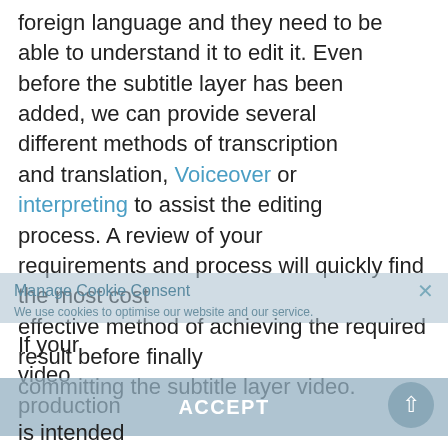foreign language and they need to be able to understand it to edit it. Even before the subtitle layer has been added, we can provide several different methods of transcription and translation, Voiceover or interpreting to assist the editing process. A review of your requirements and process will quickly find the most cost effective method of achieving the required result before finally committing the subtitle layer video.
Manage Cookie Consent ×
We use cookies to optimise our website and our service.
If your video production
ACCEPT
is intended